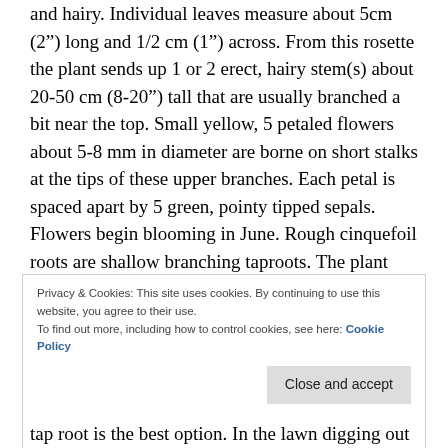and hairy. Individual leaves measure about 5cm (2”) long and 1/2 cm (1”) across. From this rosette the plant sends up 1 or 2 erect, hairy stem(s) about 20-50 cm (8-20”) tall that are usually branched a bit near the top. Small yellow, 5 petaled flowers about 5-8 mm in diameter are borne on short stalks at the tips of these upper branches. Each petal is spaced apart by 5 green, pointy tipped sepals. Flowers begin blooming in June. Rough cinquefoil roots are shallow branching taproots. The plant reproduces by windblown seed. Look-a-like plants, strawberry; but on strawberry the lower ¼ to 1/3 of each leaflet is usually without teeth.
Privacy & Cookies: This site uses cookies. By continuing to use this website, you agree to their use.
To find out more, including how to control cookies, see here: Cookie Policy
Close and accept
tap root is the best option. In the lawn digging out the